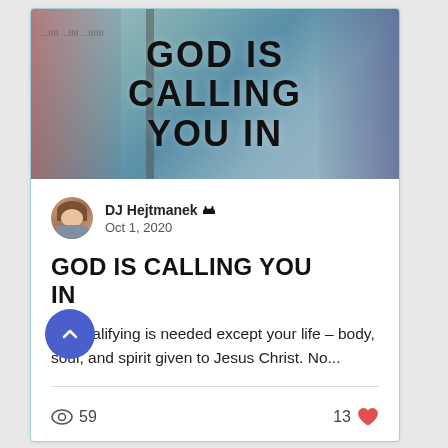[Figure (photo): Blog post hero image with bold text reading 'GOD IS CALLING YOU IN' on a colorful painted background with reds, blues, and grays]
DJ Hejtmanek 👑
Oct 1, 2020
GOD IS CALLING YOU IN
No qualifying is needed except your life – body, soul, and spirit given to Jesus Christ. No...
59 views  |  13 likes